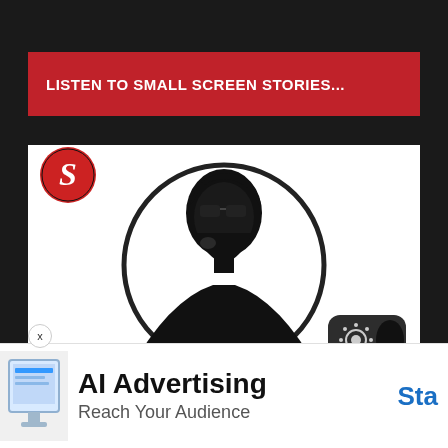LISTEN TO SMALL SCREEN STORIES...
[Figure (illustration): White card with a red circular 'S' logo at top-left and a black silhouette of a person with sunglasses inside a black circle outline, centered on the card. Bottom-right has a dark rounded settings/sun icon overlay.]
[Figure (illustration): Advertisement banner: small monitor screen icon on left, 'AI Advertising' in bold black text, 'Reach Your Audience' in gray text, and 'Sta' (truncated 'Start') in blue on right.]